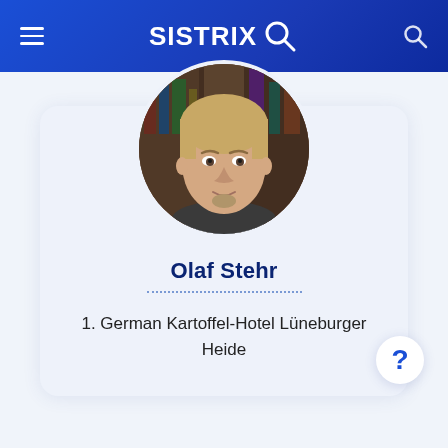SISTRIX
[Figure (photo): Circular profile photo of Olaf Stehr, a middle-aged man with short blond hair and a small goatee, wearing a light blue shirt, with a dark bookshelf background.]
Olaf Stehr
1. German Kartoffel-Hotel Lüneburger Heide